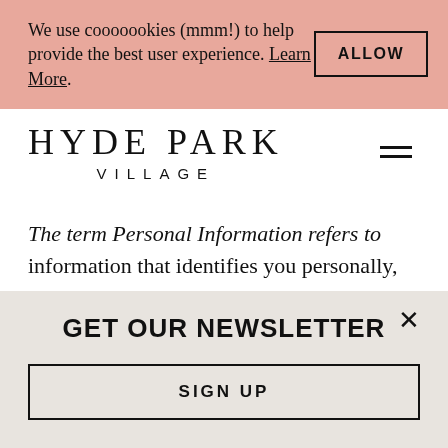We use cooooookies (mmm!) to help provide the best user experience. Learn More.
HYDE PARK VILLAGE
The term Personal Information refers to information that identifies you personally, alone or in combination with other information available to us. Examples of Personal Information include your name, address, and e-mail address.
GET OUR NEWSLETTER
SIGN UP